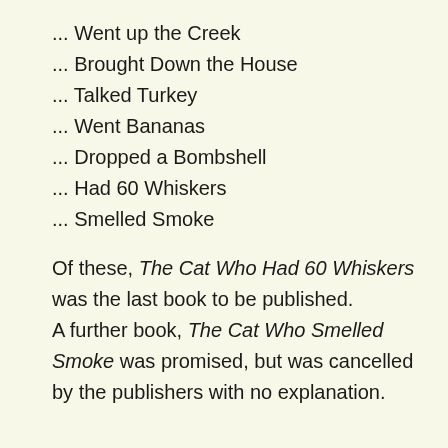... Went up the Creek
... Brought Down the House
... Talked Turkey
... Went Bananas
... Dropped a Bombshell
... Had 60 Whiskers
... Smelled Smoke
Of these, The Cat Who Had 60 Whiskers was the last book to be published. A further book, The Cat Who Smelled Smoke was promised, but was cancelled by the publishers with no explanation.